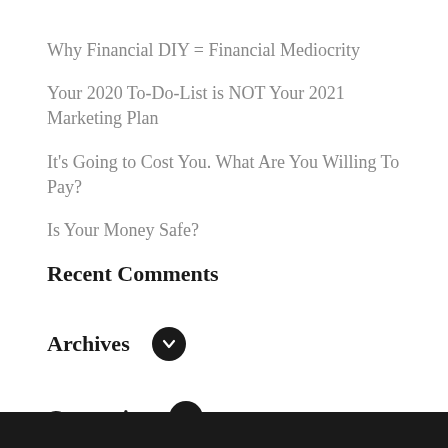Why Financial DIY = Financial Mediocrity
Your 2020 To-Do-List is NOT Your 2021 Marketing Plan
It's Going to Cost You. What Are You Willing To Pay?
Is Your Money Safe?
Recent Comments
Archives
Categories